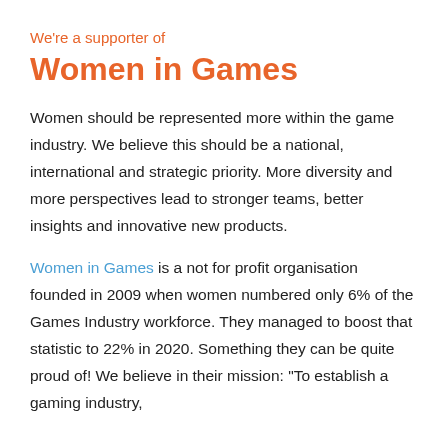We're a supporter of
Women in Games
Women should be represented more within the game industry. We believe this should be a national, international and strategic priority. More diversity and more perspectives lead to stronger teams, better insights and innovative new products.
Women in Games is a not for profit organisation founded in 2009 when women numbered only 6% of the Games Industry workforce. They managed to boost that statistic to 22% in 2020. Something they can be quite proud of! We believe in their mission: “To establish a gaming industry,